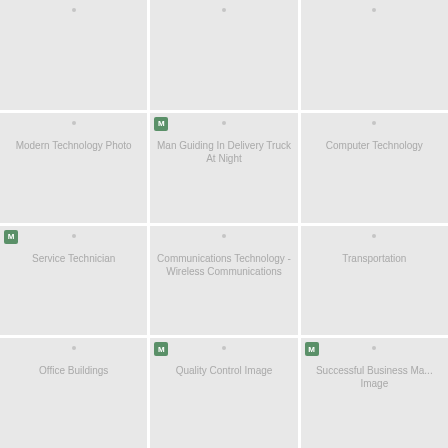[Figure (other): Grid of image placeholder cells. Row 1 (partial/cropped): three cells with no labels visible. Row 2: 'Modern Technology Photo', 'Man Guiding In Delivery Truck At Night' (M badge), 'Computer Technology' (partial). Row 3: 'Service Technician' (M badge), 'Communications Technology - Wireless Communications', 'Transportation'. Row 4 (partial): 'Office Buildings', 'Quality Control Image' (M badge), 'Successful Business Ma... Image' (M badge).]